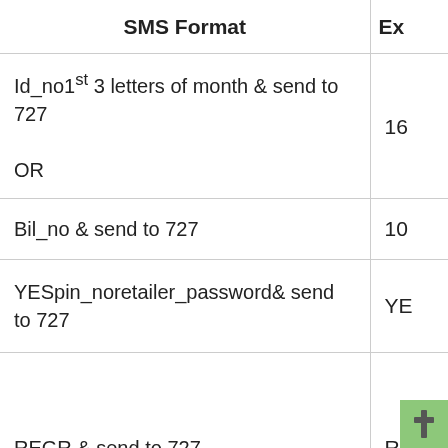| SMS Format | Ex |
| --- | --- |
| Id_no1st 3 letters of month & send to 727

OR | 16 |
| Bil_no & send to 727 | 10 |
| YESpin_noretailer_password& send to 727 | YE |
| REGR & send to 727 | RE |
| REGSacc_nocontact_noname & send to 727 | RE
10
01
Ha |